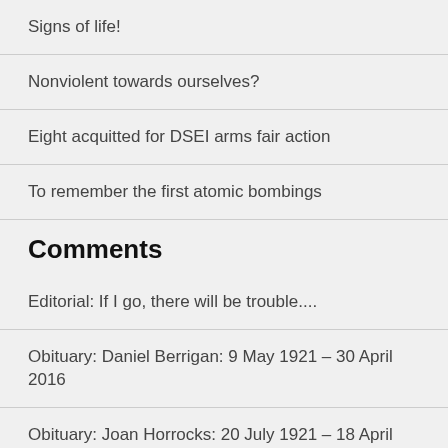Signs of life!
Nonviolent towards ourselves?
Eight acquitted for DSEI arms fair action
To remember the first atomic bombings
Comments
Editorial: If I go, there will be trouble....
Obituary: Daniel Berrigan: 9 May 1921 – 30 April 2016
Obituary: Joan Horrocks: 20 July 1921 – 18 April 2016